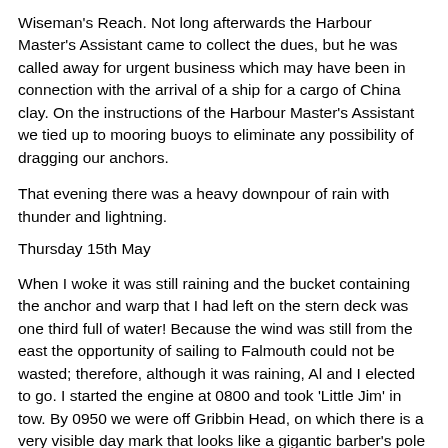Wiseman's Reach. Not long afterwards the Harbour Master's Assistant came to collect the dues, but he was called away for urgent business which may have been in connection with the arrival of a ship for a cargo of China clay. On the instructions of the Harbour Master's Assistant we tied up to mooring buoys to eliminate any possibility of dragging our anchors.
That evening there was a heavy downpour of rain with thunder and lightning.
Thursday 15th May
When I woke it was still raining and the bucket containing the anchor and warp that I had left on the stern deck was one third full of water! Because the wind was still from the east the opportunity of sailing to Falmouth could not be wasted; therefore, although it was raining, Al and I elected to go. I started the engine at 0800 and took 'Little Jim' in tow. By 0950 we were off Gribbin Head, on which there is a very visible day mark that looks like a gigantic barber's pole striped in red and white. Here we made sail with the wind